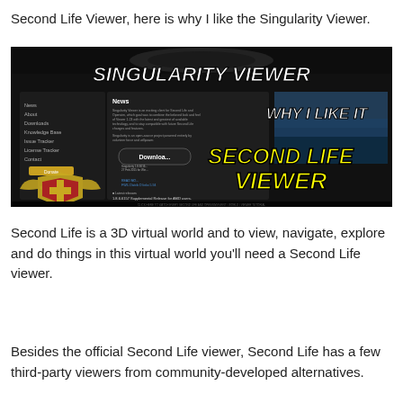Second Life Viewer, here is why I like the Singularity Viewer.
[Figure (screenshot): Screenshot thumbnail of Singularity Viewer website with bold text overlays reading 'SINGULARITY VIEWER', 'WHY I LIKE IT', and 'SECOND LIFE VIEWER' in white and yellow italic fonts on a dark background. A KABALYERO logo with golden wing emblem appears in the lower left.]
Second Life is a 3D virtual world and to view, navigate, explore and do things in this virtual world you'll need a Second Life viewer.
Besides the official Second Life viewer, Second Life has a few third-party viewers from community-developed alternatives.